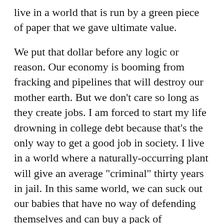live in a world that is run by a green piece of paper that we gave ultimate value.
We put that dollar before any logic or reason. Our economy is booming from fracking and pipelines that will destroy our mother earth. But we don't care so long as they create jobs. I am forced to start my life drowning in college debt because that's the only way to get a good job in society. I live in a world where a naturally-occurring plant will give an average "criminal" thirty years in jail. In this same world, we can suck out our babies that have no way of defending themselves and can buy a pack of carcinogen cancer sticks known as cigarettes, and can go virtually anywhere to drown myself in alcohol that produces more bad decisions and organ failure than marijuana ever has. Everything I once saw as black and white is now ambiguous. Whats' so wrong